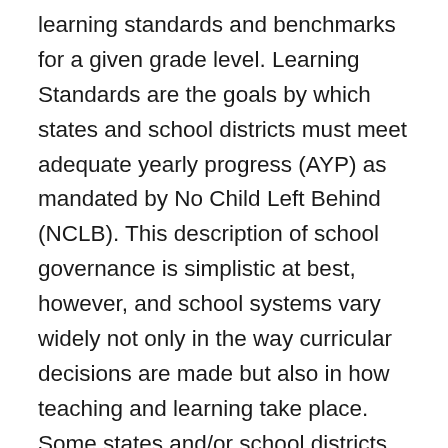learning standards and benchmarks for a given grade level. Learning Standards are the goals by which states and school districts must meet adequate yearly progress (AYP) as mandated by No Child Left Behind (NCLB). This description of school governance is simplistic at best, however, and school systems vary widely not only in the way curricular decisions are made but also in how teaching and learning take place. Some states and/or school districts impose more top-down mandates than others. In others, teachers play a significant role in curriculum design and there are few top-down mandates. Curricular decisions within private schools are made differently than they are in public schools, and in most cases without